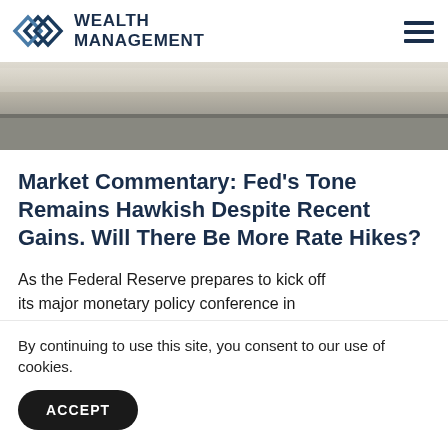Wealth Management
[Figure (photo): Exterior photograph of a large neoclassical government building with wide stone steps and plaza area]
Market Commentary: Fed’s Tone Remains Hawkish Despite Recent Gains. Will There Be More Rate Hikes?
As the Federal Reserve prepares to kick off its major monetary policy conference in
By continuing to use this site, you consent to our use of cookies.